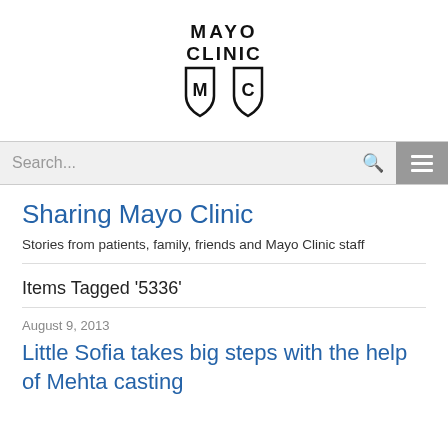[Figure (logo): Mayo Clinic logo with shield emblem and text MAYO CLINIC]
[Figure (screenshot): Search bar with text 'Search...' and magnifying glass icon, plus hamburger menu button on the right]
Sharing Mayo Clinic
Stories from patients, family, friends and Mayo Clinic staff
Items Tagged '5336'
August 9, 2013
Little Sofia takes big steps with the help of Mehta casting